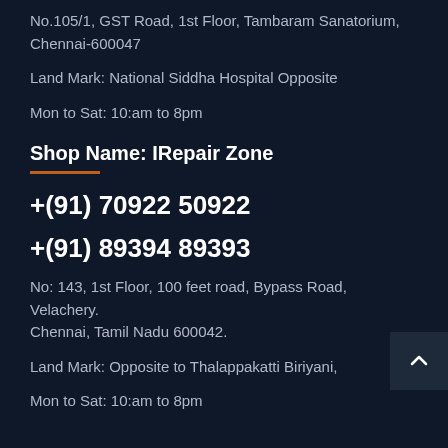No.105/1, GST Road, 1st Floor, Tambaram Sanatorium, Chennai-600047
Land Mark: National Siddha Hospital Opposite
Mon to Sat: 10:am to 8pm
Shop Name: IRepair Zone
+(91) 70922 50922
+(91) 89394 89393
No: 143, 1st Floor, 100 feet road, Bypass Road, Velachery. Chennai, Tamil Nadu 600042.
Land Mark: Opposite to Thalappakatti Biriyani,
Mon to Sat: 10:am to 8pm